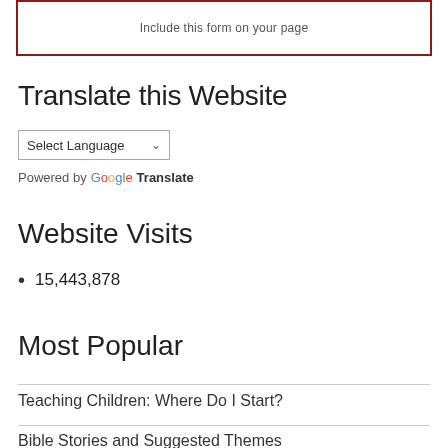Include this form on your page
Translate this Website
Select Language
Powered by Google Translate
Website Visits
15,443,878
Most Popular
Teaching Children: Where Do I Start?
Bible Stories and Suggested Themes